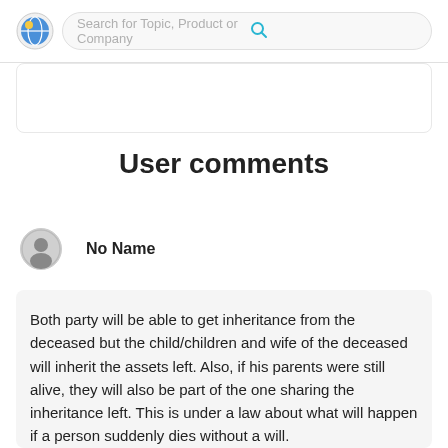Search for Topic, Product or Company
User comments
No Name
Both party will be able to get inheritance from the deceased but the child/children and wife of the deceased will inherit the assets left. Also, if his parents were still alive, they will also be part of the one sharing the inheritance left. This is under a law about what will happen if a person suddenly dies without a will.